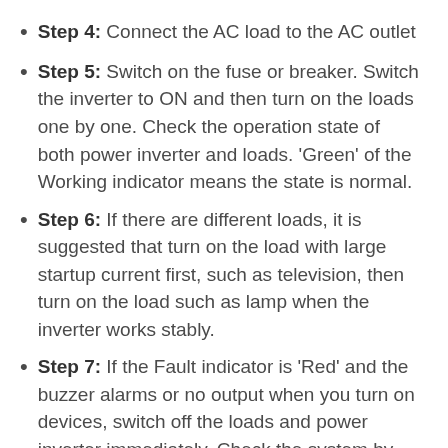Step 4: Connect the AC load to the AC outlet
Step 5: Switch on the fuse or breaker. Switch the inverter to ON and then turn on the loads one by one. Check the operation state of both power inverter and loads. ‘Green’ of the Working indicator means the state is normal.
Step 6: If there are different loads, it is suggested that turn on the load with large startup current first, such as television, then turn on the load such as lamp when the inverter works stably.
Step 7: If the Fault indicator is ‘Red’ and the buzzer alarms or no output when you turn on devices, switch off the loads and power inverter immediately. Check the system by referring to the troubleshooting guide. Turn on the devices again according to the operation methods after the failure is removed.